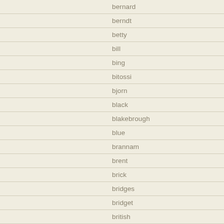bernard
berndt
betty
bill
bing
bitossi
bjorn
black
blakebrough
blue
brannam
brent
brick
bridges
bridget
british